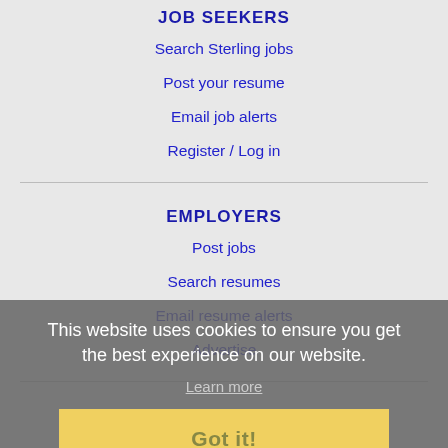JOB SEEKERS
Search Sterling jobs
Post your resume
Email job alerts
Register / Log in
EMPLOYERS
Post jobs
Search resumes
Email resume alerts
Advertise
IMMIGRATION SPECIALISTS
Post jobs
Immigration FAQs
Learn more
This website uses cookies to ensure you get the best experience on our website.
Learn more
Got it!